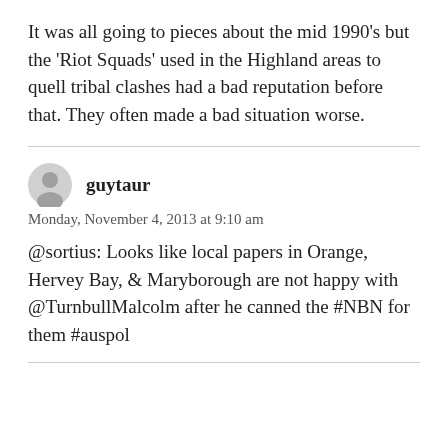It was all going to pieces about the mid 1990's but the 'Riot Squads' used in the Highland areas to quell tribal clashes had a bad reputation before that. They often made a bad situation worse.
guytaur
Monday, November 4, 2013 at 9:10 am
@sortius: Looks like local papers in Orange, Hervey Bay, & Maryborough are not happy with @TurnbullMalcolm after he canned the #NBN for them #auspol